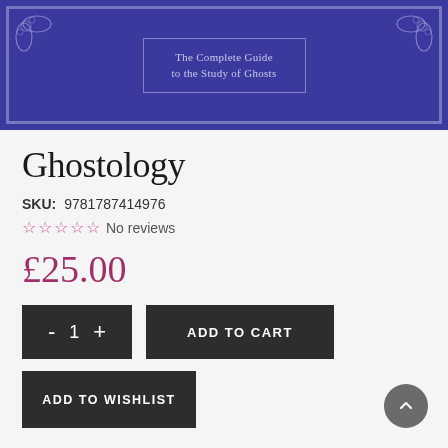[Figure (photo): Book cover of Ghostology showing a purple/indigo colored book with ornate decorative border and subtitle 'The Complete Guide to the Study of Ghosts']
Ghostology
SKU: 9781787414976
☆ ☆ ☆ ☆ ☆ No reviews
£25.00